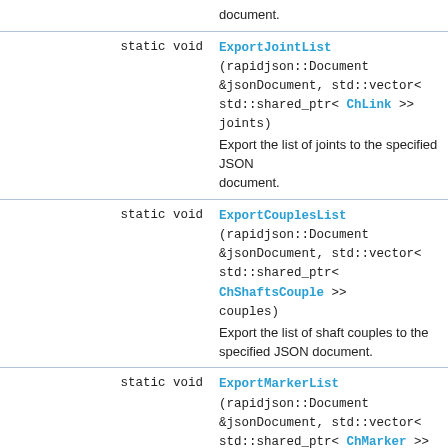|  |  |
| --- | --- |
|  | document. |
| static void | ExportJointList (rapidjson::Document &jsonDocument, std::vector< std::shared_ptr< ChLink >> joints)
Export the list of joints to the specified JSON document. |
| static void | ExportCouplesList (rapidjson::Document &jsonDocument, std::vector< std::shared_ptr< ChShaftsCouple >> couples)
Export the list of shaft couples to the specified JSON document. |
| static void | ExportMarkerList (rapidjson::Document &jsonDocument, std::vector< std::shared_ptr< ChMarker >> markers)
Export the list of markers to the specified JSON document. |
| static void | ExportLinSpringList (rapidjson::Document &jsonDocument, std::vector< std::shared_ptr< ChLinkTSDA >> springs)
Export the list of translational springs to the specified JSON document. |
| static void | ExportRotSpringList (rapidjson::Document &jsonDocument, std::vector< std::shared_ptr< ChLinkRSDA >> springs) |